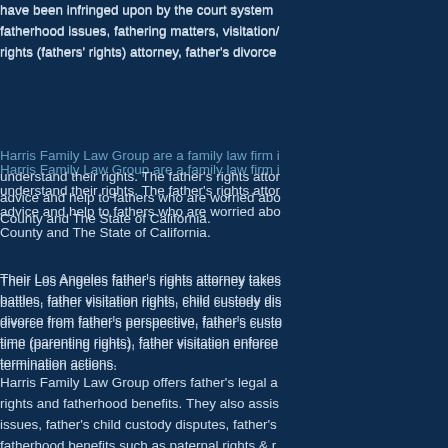have been infringed upon by the court system fatherhood issues, fathering matters, visitation/ rights (fathers' rights) attorney, father's divorce
Harris Family Law Group are a family law firm i understand their rights. The father's rights attor advice and help to fathers who are worried abo County and The State of California.
Their Los Angeles father's rights attorney takes battles, father visitation rights, child custody dis divorce from father's perspective, father's custo time (parenting rights), father visitation enforce termination actions.
Harris Family Law Group offers father's legal a rights and fatherhood benefits. They also assis issues, father's child custody disputes, father's fatherhood benefits such as paternal rights & r social security.
Los Angeles father's rights attorney at Harris F